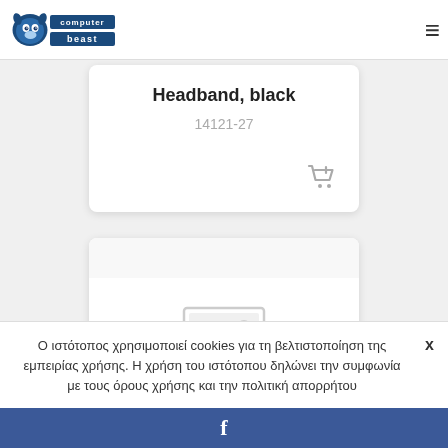[Figure (logo): Computer Beast logo with beast mascot and blue text]
Headband, black
14121-27
[Figure (illustration): Shopping cart add icon in gray]
[Figure (photo): Placeholder image icon (no image available)]
Ο ιστότοπος χρησιμοποιεί cookies για τη βελτιστοποίηση της εμπειρίας χρήσης. Η χρήση του ιστότοπου δηλώνει την συμφωνία με τους όρους χρήσης και την πολιτική απορρήτου
[Figure (logo): Facebook 'f' logo on blue bar]